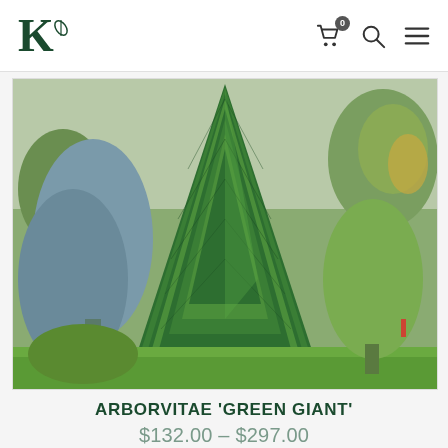K [logo with leaf] — navigation icons: cart (0), search, menu
[Figure (photo): Large green Arborvitae 'Green Giant' conifer tree in a park setting, surrounded by other evergreen trees and grass]
ARBORVITAE 'GREEN GIANT'
$132.00 – $297.00